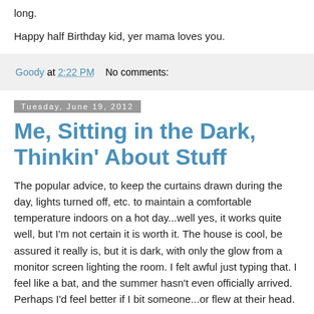long.
Happy half Birthday kid, yer mama loves you.
Goody at 2:22 PM    No comments:
Tuesday, June 19, 2012
Me, Sitting in the Dark, Thinkin' About Stuff
The popular advice, to keep the curtains drawn during the day, lights turned off, etc. to maintain a comfortable temperature indoors on a hot day...well yes, it works quite well, but I'm not certain it is worth it. The house is cool, be assured it really is, but it is dark, with only the glow from a monitor screen lighting the room. I felt awful just typing that. I feel like a bat, and the summer hasn't even officially arrived. Perhaps I'd feel better if I bit someone...or flew at their head.
Whilst confined to the dark, albeit cool house over the past